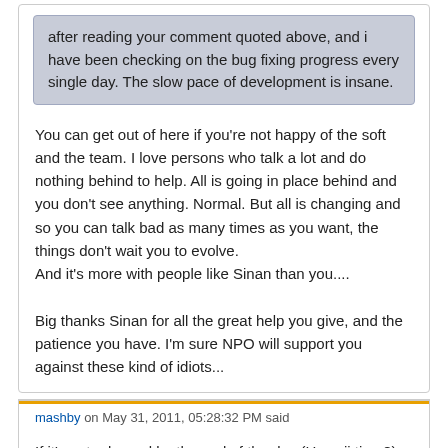after reading your comment quoted above, and i have been checking on the bug fixing progress every single day. The slow pace of development is insane.
You can get out of here if you're not happy of the soft and the team. I love persons who talk a lot and do nothing behind to help. All is going in place behind and you don't see anything. Normal. But all is changing and so you can talk bad as many times as you want, the things don't wait you to evolve.
And it's more with people like Sinan than you....
Big thanks Sinan for all the great help you give, and the patience you have. I'm sure NPO will support you against these kind of idiots...
mashby on May 31, 2011, 05:28:32 PM said
If it's not released by the end of the day (Hawaii time?), does the world end? If the release slips into June and the release is more stable as opposed to releasing it to meet a deadline, isn't that better? I bet this is the last time you'll ever see a distinct time